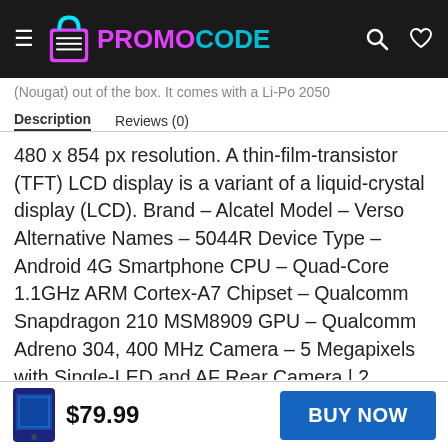PROMOCODE
(Nougat) out of the box. It comes with a Li-Po 2050
Description   Reviews (0)
480 x 854 px resolution. A thin-film-transistor (TFT) LCD display is a variant of a liquid-crystal display (LCD). Brand – Alcatel Model – Verso Alternative Names – 5044R Device Type – Android 4G Smartphone CPU – Quad-Core 1.1GHz ARM Cortex-A7 Chipset – Qualcomm Snapdragon 210 MSM8909 GPU – Qualcomm Adreno 304, 400 MHz Camera – 5 Megapixels with Single-LED and AF Rear Camera | 2 Megapixel Front Camera Memory – RAM- 1GB | ROM 8GB External Memory Support up to 128GB Display –
$79.99
BUY NOW